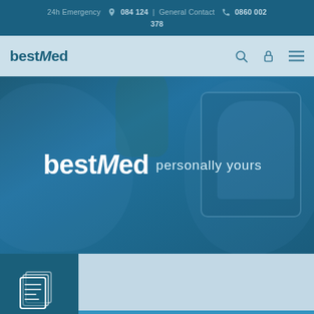24h Emergency 084 124 | General Contact 0860 002 378
[Figure (screenshot): BestMed medical scheme website screenshot showing navigation bar with bestMed logo, search, login and menu icons, a hero banner with blue overlay showing the bestMed logo and tagline 'personally yours', and a bottom section with a document icon block.]